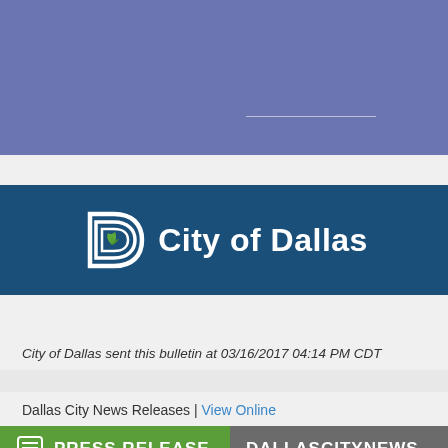[Figure (other): Facebook-style blue-purple header banner area with a horizontal white divider line near the bottom right]
[Figure (logo): City of Dallas official logo banner: D-shaped logo with green leaf and white text 'City of Dallas' on dark blue background]
City of Dallas sent this bulletin at 03/16/2017 04:14 PM CDT
Dallas City News Releases | View Online
PRESS RELEASE
DALLASCITYNEWS